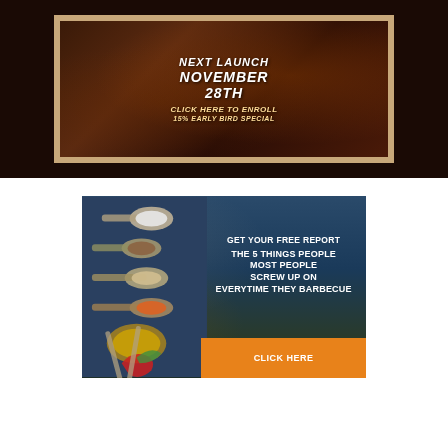[Figure (photo): Dark restaurant/food background image with text overlay: NEXT LAUNCH NOVEMBER 28TH, CLICK HERE TO ENROLL, 15% EARLY BIRD SPECIAL]
[Figure (photo): Spices and spoons on a dark wooden board with text: GET YOUR FREE REPORT THE 5 THINGS PEOPLE MOST PEOPLE SCREW UP ON EVERYTIME THEY BARBECUE, with CLICK HERE orange button]